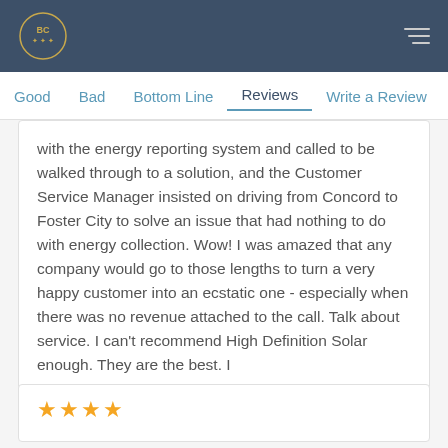BC logo and navigation header
Good   Bad   Bottom Line   Reviews   Write a Review
with the energy reporting system and called to be walked through to a solution, and the Customer Service Manager insisted on driving from Concord to Foster City to solve an issue that had nothing to do with energy collection. Wow! I was amazed that any company would go to those lengths to turn a very happy customer into an ecstatic one - especially when there was no revenue attached to the call. Talk about service. I can't recommend High Definition Solar enough. They are the best. I
5 years ago
[Figure (other): Four gold star rating icons]